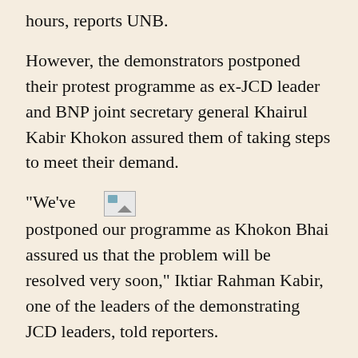hours, reports UNB.
However, the demonstrators postponed their protest programme as ex-JCD leader and BNP joint secretary general Khairul Kabir Khokon assured them of taking steps to meet their demand.
"We've [broken image] postponed our programme as Khokon Bhai assured us that the problem will be resolved very soon," Iktiar Rahman Kabir, one of the leaders of the demonstrating JCD leaders, told reporters.
On Sunday, the same group, demonstrated in front of the BNP office or about two hours from 11am to realise their demand.
They also had demonstrated in front of the BNP office on June 11 and kept the main gate of the